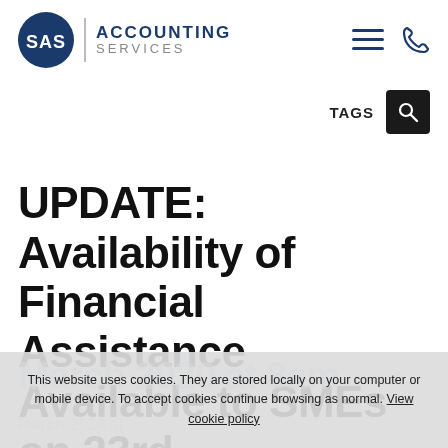[Figure (logo): SAS Accounting Services logo with circular blue badge containing 'SAS' text, vertical divider, and 'ACCOUNTING SERVICES' text in blue/grey]
[Figure (infographic): Navigation icons: hamburger menu (three lines) and phone icon in blue, plus Tags label with dark search button]
UPDATE: Availability of Financial Assistance Available to SMEs on 23rd
This website uses cookies. They are stored locally on your computer or mobile device. To accept cookies continue browsing as normal. View cookie policy